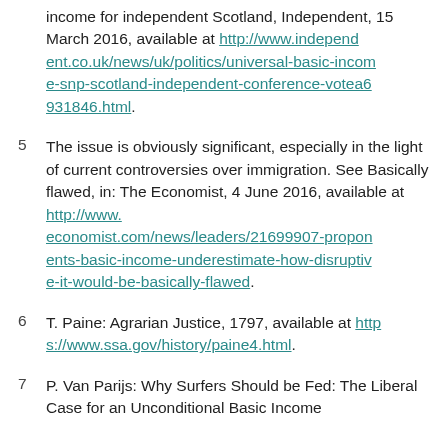income for independent Scotland, Independent, 15 March 2016, available at http://www.independent.co.uk/news/uk/politics/universal-basic-income-snp-scotland-independent-conference-votea6931846.html.
5  The issue is obviously significant, especially in the light of current controversies over immigration. See Basically flawed, in: The Economist, 4 June 2016, available at http://www.economist.com/news/leaders/21699907-proponents-basic-income-underestimate-how-disruptive-it-would-be-basically-flawed.
6  T. Paine: Agrarian Justice, 1797, available at https://www.ssa.gov/history/paine4.html.
7  P. Van Parijs: Why Surfers Should be Fed: The Liberal Case for an Unconditional Basic Income